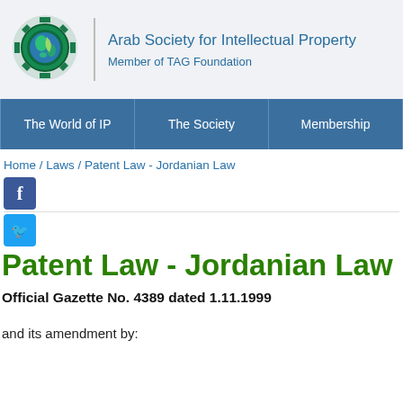[Figure (logo): Arab Society for Intellectual Property logo — gear with globe/leaf design in green and dark teal]
Arab Society for Intellectual Property
Member of TAG Foundation
The World of IP | The Society | Membership
Home / Laws / Patent Law - Jordanian Law
Patent Law - Jordanian Law
Official Gazette No. 4389 dated 1.11.1999
and its amendment by: